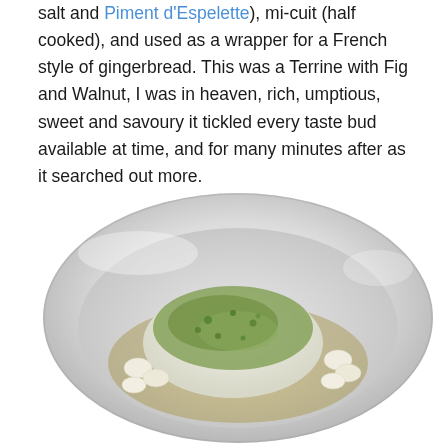salt and Piment d'Espelette), mi-cuit (half cooked), and used as a wrapper for a French style of gingerbread. This was a Terrine with Fig and Walnut, I was in heaven, rich, umptious, sweet and savoury it tickled every taste bud available at time, and for many minutes after as it searched out more.
[Figure (photo): A white ceramic bowl containing a piece of white fish topped with a green herb sauce, served alongside several small white beans in a light broth.]